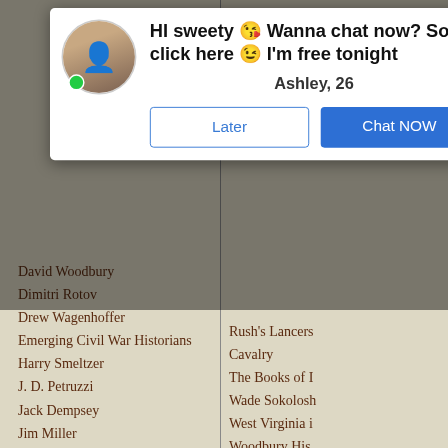[Figure (screenshot): Ad popup overlay showing a woman's avatar with green online indicator, headline 'HI sweety 😘 Wanna chat now? So click here 😉 I'm free tonight', name 'Ashley, 26', and two buttons: 'Later' and 'Chat NOW']
David Woodbury
Dimitri Rotov
Drew Wagenhoffer
Emerging Civil War Historians
Harry Smeltzer
J. D. Petruzzi
Jack Dempsey
Jim Miller
Jim Rosebrock
Jim Schmidt
John Hoptak
Kevin Levin
Kraig McNutt
Rush's Lancers Cavalry
The Books of [...]
Wade Sokolosh[...]
West Virginia [...]
Woodbury His[...]
Gettysburg Da[...]
Jenny Goellnit[...]
Siege of Peters[...]
The Battle of [...]